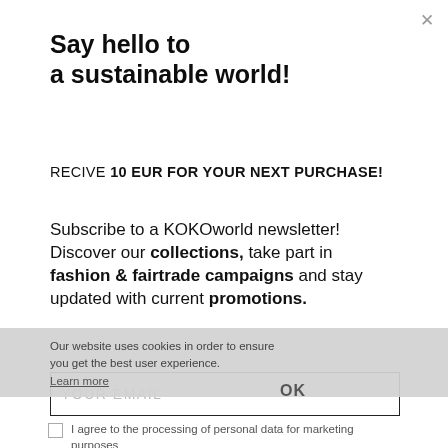Say hello to a sustainable world!
RECIVE 10 EUR FOR YOUR NEXT PURCHASE!
Subscribe to a KOKOworld newsletter! Discover our collections, take part in fashion & fairtrade campaigns and stay updated with current promotions.
Our website uses cookies in order to ensure you get the best user experience.
Learn more
YOUR EMAIL
OK
I agree to the processing of personal data for marketing purposes